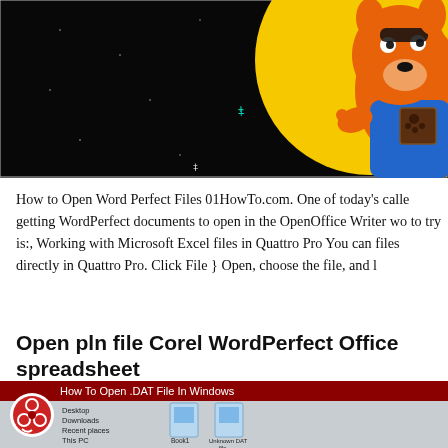[Figure (illustration): Cartoon character (anthropomorphic dog/fox in blue overalls) on a black starry background with a yellow circle, small colored cross markers scattered across the dark field, and a brown paw badge]
How to Open Word Perfect Files 01HowTo.com. One of today's callers getting WordPerfect documents to open in the OpenOffice Writer wo to try is:, Working with Microsoft Excel files in Quattro Pro You can files directly in Quattro Pro. Click File } Open, choose the file, and l
Open pln file Corel WordPerfect Office spreadsheet
[Figure (screenshot): Video thumbnail showing 'How To Open .DAT File In Windows' with a red circular logo icon on the left, and a Windows file explorer view showing file icons including 'Book1' and 'Unknown DAT file']